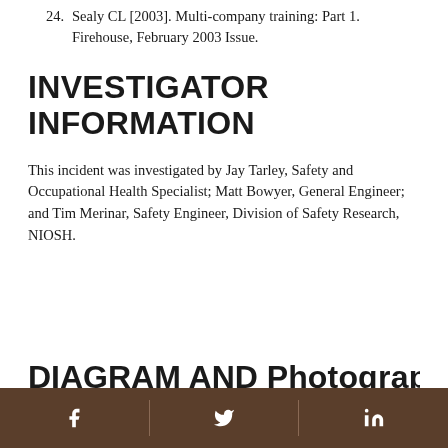24. Sealy CL [2003]. Multi-company training: Part 1. Firehouse, February 2003 Issue.
INVESTIGATOR INFORMATION
This incident was investigated by Jay Tarley, Safety and Occupational Health Specialist; Matt Bowyer, General Engineer; and Tim Merinar, Safety Engineer, Division of Safety Research, NIOSH.
DIAGRAM AND Ph...
Facebook | Twitter | LinkedIn